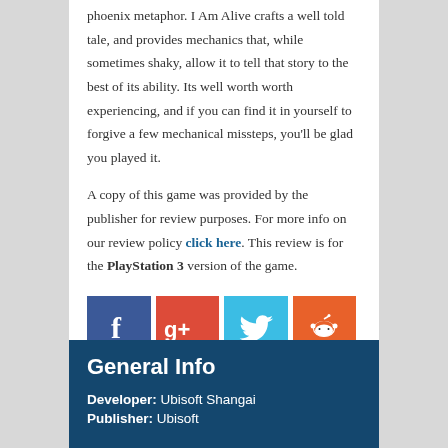phoenix metaphor. I Am Alive crafts a well told tale, and provides mechanics that, while sometimes shaky, allow it to tell that story to the best of its ability. Its well worth worth experiencing, and if you can find it in yourself to forgive a few mechanical missteps, you'll be glad you played it.
A copy of this game was provided by the publisher for review purposes. For more info on our review policy click here. This review is for the PlayStation 3 version of the game.
[Figure (infographic): Social media sharing icons: Facebook (blue), Google+ (red), Twitter (light blue), Reddit (orange)]
General Info
Developer: Ubisoft Shangai
Publisher: Ubisoft